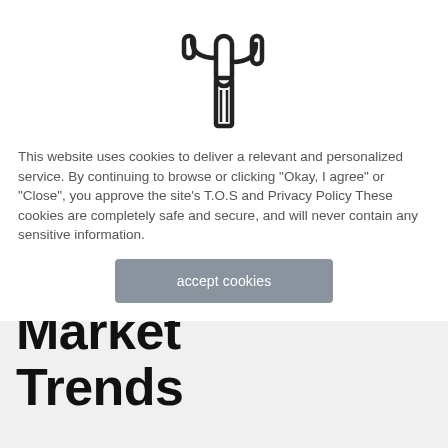[Figure (logo): Cactus icon outline logo in black]
This website uses cookies to deliver a relevant and personalized service. By continuing to browse or clicking "Okay, I agree" or "Close", you approve the site's T.O.S and Privacy Policy These cookies are completely safe and secure, and will never contain any sensitive information.
accept cookies
Research
Market Trends
Wearable Statistics And Facts For 2021